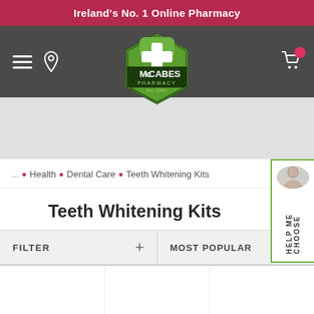Ireland's No. 1 Online Pharmacy
[Figure (logo): McCabes Pharmacy logo - green hexagon shape with white cross and text 'McCabes Pharmacy Est 1981']
... Health Dental Care Teeth Whitening Kits
Teeth Whitening Kits
FILTER + MOST POPULAR